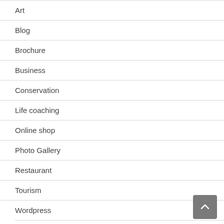Art
Blog
Brochure
Business
Conservation
Life coaching
Online shop
Photo Gallery
Restaurant
Tourism
Wordpress